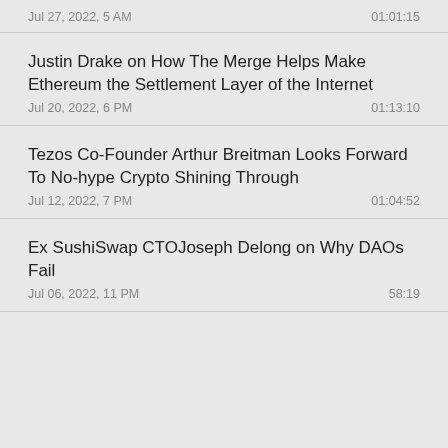Jul 27, 2022, 5 AM  01:01:15
Justin Drake on How The Merge Helps Make Ethereum the Settlement Layer of the Internet
Jul 20, 2022, 6 PM  01:13:10
Tezos Co-Founder Arthur Breitman Looks Forward To No-hype Crypto Shining Through
Jul 12, 2022, 7 PM  01:04:52
Ex SushiSwap CTOJoseph Delong on Why DAOs Fail
Jul 06, 2022, 11 PM  58:19